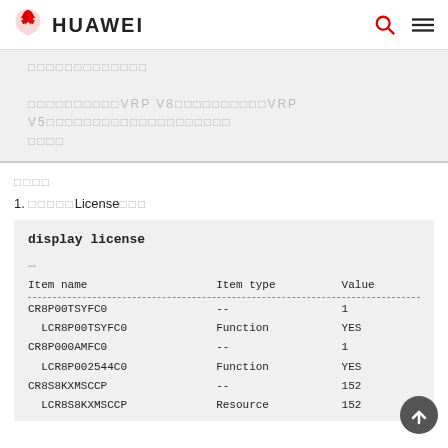HUAWEI
□□□□□□□□□□□□□
□□□□□□□□□□VRP V8□□□□□□□□□□VRP V5□□□□□□□□□□□□□□□□□□□□
□□□□
1. □□□□□License□□□
[Figure (screenshot): Code block showing 'display license' command output with a table of Item name, Item type, and Value columns. Rows: CR8P00TSYFC0 -- 1, LCR8P00TSYFC0 Function YES, CR8P000AMFC0 -- 1, LCR8P002544C0 Function YES, CR8S8KXMSCCP -- 152, LCR8S8KXMSCCP Resource 152]